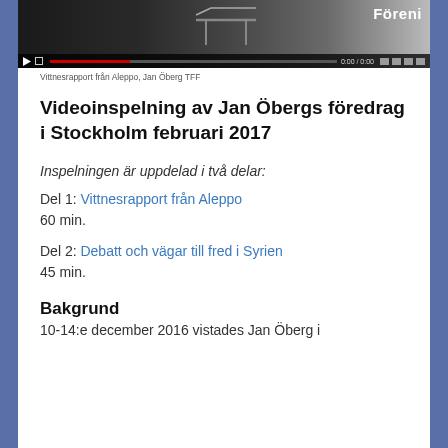[Figure (screenshot): Video thumbnail showing a darkened scene with a desk/table shape and the word 'Föreni' visible in white text at top right, with video player controls at the bottom including play button, progress bar, and icons.]
Vittnesrapport från Aleppo, Jan Öberg TFF
Videoinspelning av Jan Öbergs föredrag i Stockholm februari 2017
Inspelningen är uppdelad i två delar:
Del 1: Vittnesrapport från Aleppo
60 min.
Del 2: Debatt och vägar till fred i Syrien
45 min.
Bakgrund
10-14:e december 2016 vistades Jan Öberg i